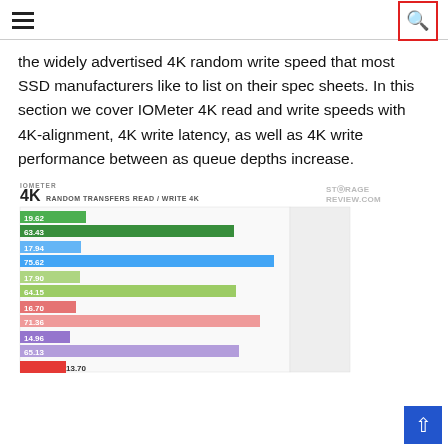Navigation header with hamburger menu and search icon
the widely advertised 4K random write speed that most SSD manufacturers like to list on their spec sheets. In this section we cover IOMeter 4K read and write speeds with 4K-alignment, 4K write latency, as well as 4K write performance between as queue depths increase.
[Figure (bar-chart): 4K RANDOM TRANSFERS READ / WRITE 4K]